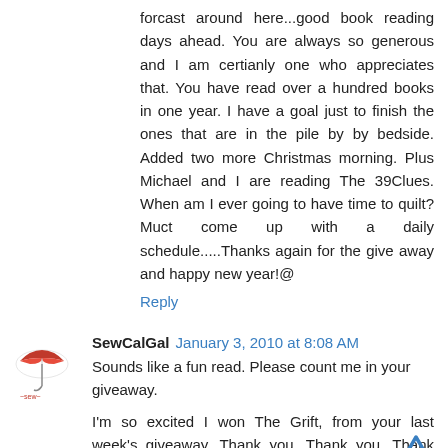forcast around here...good book reading days ahead. You are always so generous and I am certianly one who appreciates that. You have read over a hundred books in one year. I have a goal just to finish the ones that are in the pile by by bedside. Added two more Christmas morning. Plus Michael and I are reading The 39Clues. When am I ever going to have time to quilt? Muct come up with a daily schedule.....Thanks again for the give away and happy new year!@
Reply
SewCalGal  January 3, 2010 at 8:08 AM
Sounds like a fun read. Please count me in your giveaway.
I'm so excited I won The Grift, from your last week's giveaway. Thank you, Thank you, Thank you.
SewCalGal
www.sewcalgal.blogspot.com
Reply